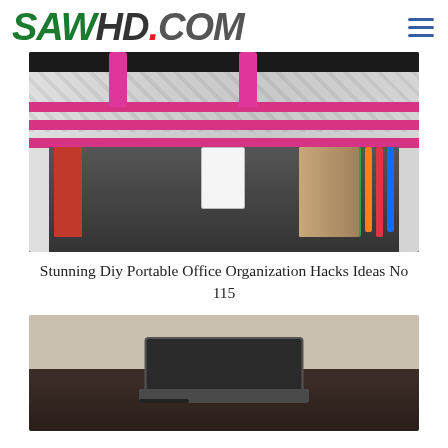SAWHD.COM
[Figure (photo): A pink and black floral patterned tote bag open and filled with office supplies including markers, folders, and other stationery items, photographed from above on a dark surface.]
Stunning Diy Portable Office Organization Hacks Ideas No 115
[Figure (photo): A laptop computer sitting on a dark wooden desk, photographed from above, with a neutral wall in the background.]